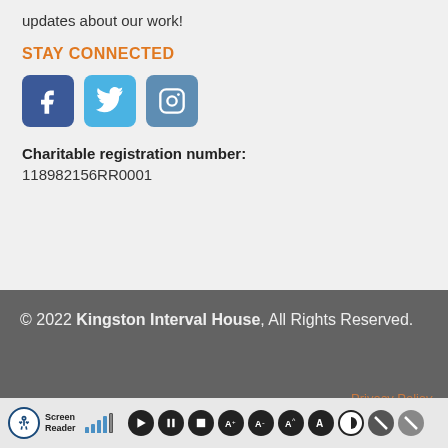updates about our work!
STAY CONNECTED
[Figure (other): Social media icons: Facebook, Twitter, Instagram]
Charitable registration number: 118982156RR0001
© 2022 Kingston Interval House, All Rights Reserved.
Privacy Policy
[Figure (screenshot): Screen Reader accessibility toolbar with playback and display controls]